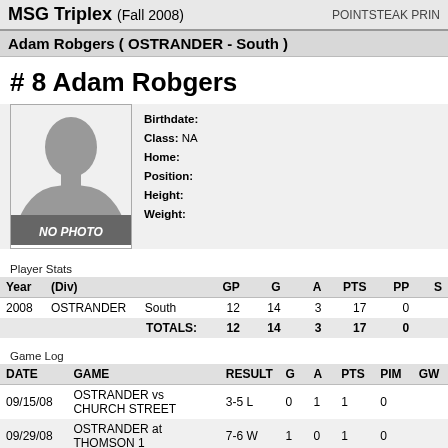MSG Triplex (Fall 2008) POINTSTEAK PRIN
Adam Robgers ( OSTRANDER - South )
# 8 Adam Robgers
[Figure (photo): Placeholder silhouette photo labeled NO PHOTO]
Birthdate:
Class: NA
Home:
Position:
Height:
Weight:
Player Stats
| Year | (Div) |  | GP | G | A | PTS | PP | S |
| --- | --- | --- | --- | --- | --- | --- | --- | --- |
| 2008 | OSTRANDER | South | 12 | 14 | 3 | 17 | 0 |  |
|  |  | TOTALS: | 12 | 14 | 3 | 17 | 0 |  |
Game Log
| DATE | GAME | RESULT | G | A | PTS | PIM | GW |
| --- | --- | --- | --- | --- | --- | --- | --- |
| 09/15/08 | OSTRANDER vs CHURCH STREET | 3-5 L | 0 | 1 | 1 | 0 |  |
| 09/29/08 | OSTRANDER at THOMSON 1 | 7-6 W | 1 | 0 | 1 | 0 |  |